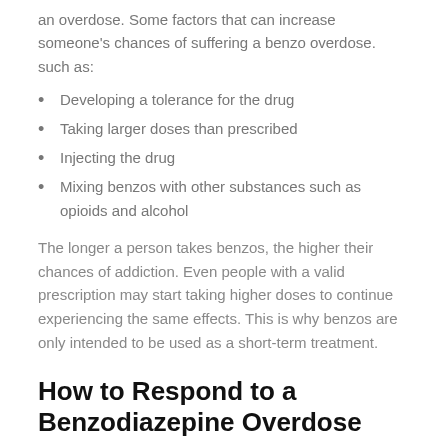an overdose. Some factors that can increase someone's chances of suffering a benzo overdose. such as:
Developing a tolerance for the drug
Taking larger doses than prescribed
Injecting the drug
Mixing benzos with other substances such as opioids and alcohol
The longer a person takes benzos, the higher their chances of addiction. Even people with a valid prescription may start taking higher doses to continue experiencing the same effects. This is why benzos are only intended to be used as a short-term treatment.
How to Respond to a Benzodiazepine Overdose